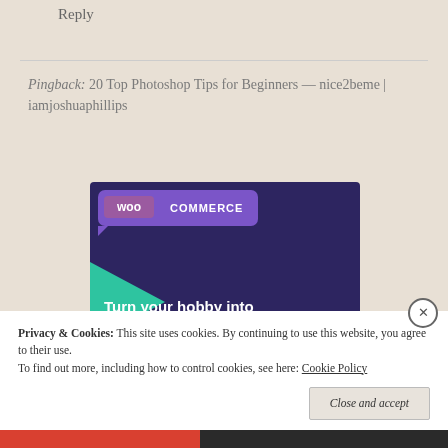Reply
Pingback: 20 Top Photoshop Tips for Beginners — nice2beme | iamjoshuaphillips
[Figure (illustration): WooCommerce advertisement banner with dark purple background, WooCommerce logo in speech bubble, green triangle and cyan circle decorative shapes, text 'Turn your hobby into a business in 8 steps', and a 'Start a new store' button.]
Privacy & Cookies: This site uses cookies. By continuing to use this website, you agree to their use.
To find out more, including how to control cookies, see here: Cookie Policy
Close and accept